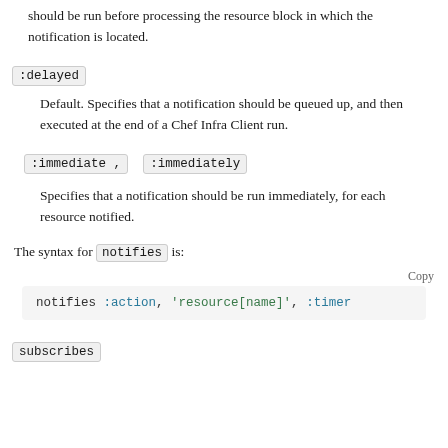Specifies that the action on a notified resource should be run before processing the resource block in which the notification is located.
:delayed — Default. Specifies that a notification should be queued up, and then executed at the end of a Chef Infra Client run.
:immediate, :immediately — Specifies that a notification should be run immediately, for each resource notified.
The syntax for notifies is:
notifies :action, 'resource[name]', :timer
subscribes